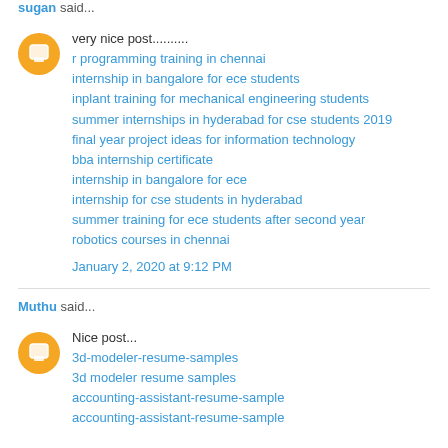sugan said...
very nice post..........
r programming training in chennai
internship in bangalore for ece students
inplant training for mechanical engineering students
summer internships in hyderabad for cse students 2019
final year project ideas for information technology
bba internship certificate
internship in bangalore for ece
internship for cse students in hyderabad
summer training for ece students after second year
robotics courses in chennai
January 2, 2020 at 9:12 PM
Muthu said...
Nice post...
3d-modeler-resume-samples
3d modeler resume samples
accounting-assistant-resume-sample
accounting-assistant-resume-sample